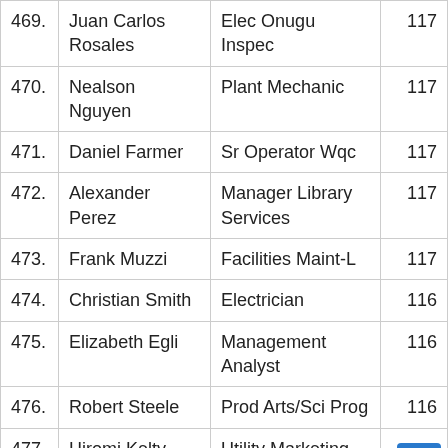| # | Name | Job Title | Score |
| --- | --- | --- | --- |
| 469. | Juan Carlos Rosales | Elec Onugu Inspec | 117 |
| 470. | Nealson Nguyen | Plant Mechanic | 117 |
| 471. | Daniel Farmer | Sr Operator Wqc | 117 |
| 472. | Alexander Perez | Manager Library Services | 117 |
| 473. | Frank Muzzi | Facilities Maint-L | 117 |
| 474. | Christian Smith | Electrician | 116 |
| 475. | Elizabeth Egli | Management Analyst | 116 |
| 476. | Robert Steele | Prod Arts/Sci Prog | 116 |
| 477. | Hiromi Kelty | Utility Marketing Program | 116 |